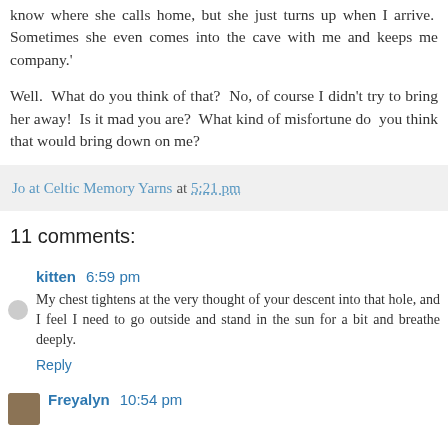know where she calls home, but she just turns up when I arrive.  Sometimes she even comes into the cave with me and keeps me company.'
Well.  What do you think of that?  No, of course I didn't try to bring her away!  Is it mad you are?  What kind of misfortune do  you think that would bring down on me?
Jo at Celtic Memory Yarns at 5:21 pm
11 comments:
kitten 6:59 pm
My chest tightens at the very thought of your descent into that hole, and I feel I need to go outside and stand in the sun for a bit and breathe deeply.
Reply
Freyalyn 10:54 pm